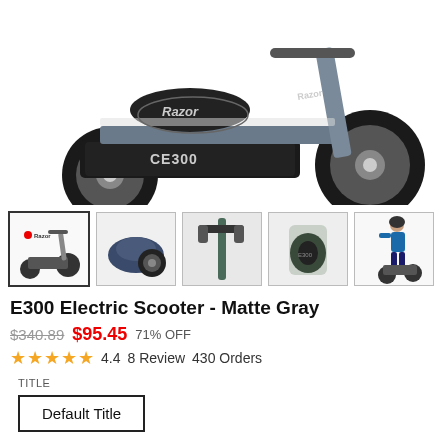[Figure (photo): Main product image of Razor E300 Electric Scooter in Matte Gray, showing side view of scooter with large tires and E300 branding]
[Figure (photo): Row of 5 product thumbnail images: full scooter side view with Razor logo, close-up of seat area, handlebar close-up, body panel close-up, person riding scooter]
E300 Electric Scooter - Matte Gray
$340.89  $95.45  71% OFF
4.4  8 Review  430 Orders
TITLE
Default Title